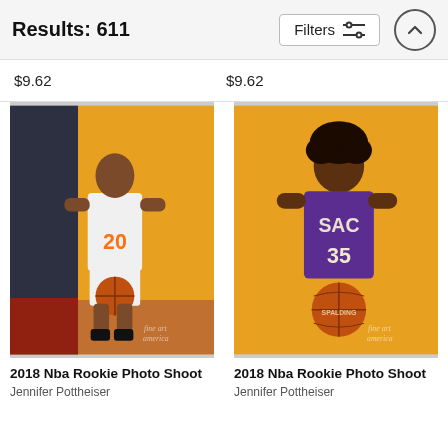Results: 611
$9.62
$9.62
[Figure (photo): Basketball player in New York Knicks #20 white jersey holding a basketball, standing against an orange/yellow background. Fine Art America watermark visible.]
2018 Nba Rookie Photo Shoot
Jennifer Pottheiser
[Figure (photo): Basketball player in Sacramento Kings #35 purple jersey holding a Spalding basketball, against a yellow background. Fine Art America watermark visible.]
2018 Nba Rookie Photo Shoot
Jennifer Pottheiser